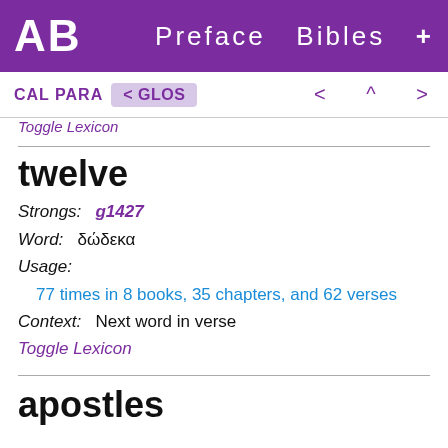AB   Preface  Bibles  +
CAL PARA  < GLOS   <  ^  >
Toggle Lexicon
twelve
Strongs:  g1427
Word:  δώδεκα
Usage:
77 times in 8 books, 35 chapters, and 62 verses
Context:   Next word in verse
Toggle Lexicon
apostles